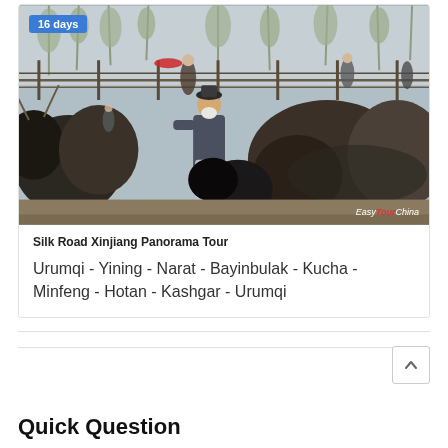[Figure (photo): A man in traditional Central Asian clothing standing among yaks/cattle at what appears to be a livestock market. Trees visible in background, other people in the scene. Watermark reads 'EasyTourChina'.]
Silk Road Xinjiang Panorama Tour
Urumqi - Yining - Narat - Bayinbulak - Kucha - Minfeng - Hotan - Kashgar - Urumqi
Quick Question